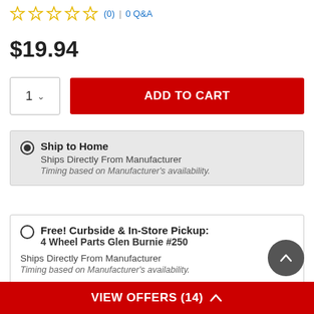[Figure (other): Five empty star rating icons (gold outline)]
(0) | 0 Q&A
$19.94
1 ∨  ADD TO CART
Ship to Home
Ships Directly From Manufacturer
Timing based on Manufacturer's availability.
Free! Curbside & In-Store Pickup:
4 Wheel Parts Glen Burnie #250
Ships Directly From Manufacturer
Timing based on Manufacturer's availability.
View Other Stores
VIEW OFFERS (14) ∧